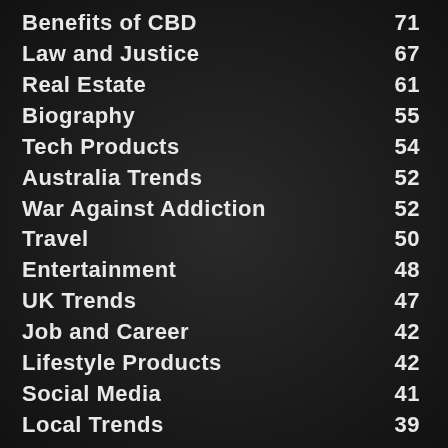Benefits of CBD 71
Law and Justice 67
Real Estate 61
Biography 55
Tech Products 54
Australia Trends 52
War Against Addiction 52
Travel 50
Entertainment 48
UK Trends 47
Job and Career 42
Lifestyle Products 42
Social Media 41
Local Trends 39